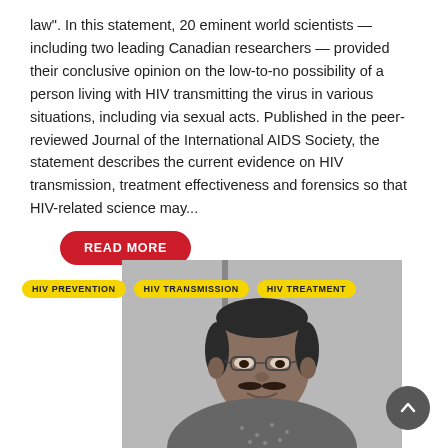law". In this statement, 20 eminent world scientists — including two leading Canadian researchers — provided their conclusive opinion on the low-to-no possibility of a person living with HIV transmitting the virus in various situations, including via sexual acts. Published in the peer-reviewed Journal of the International AIDS Society, the statement describes the current evidence on HIV transmission, treatment effectiveness and forensics so that HIV-related science may...
READ MORE
HIV PREVENTION  HIV TRANSMISSION  HIV TREATMENT
[Figure (photo): Black and white photograph of a man with glasses and a mustache, wearing a patterned shirt, smiling slightly. The photo is cropped to show head and upper torso.]